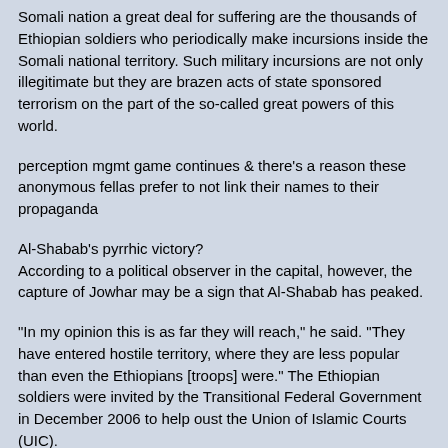Somali nation a great deal for suffering are the thousands of Ethiopian soldiers who periodically make incursions inside the Somali national territory. Such military incursions are not only illegitimate but they are brazen acts of state sponsored terrorism on the part of the so-called great powers of this world.
perception mgmt game continues & there's a reason these anonymous fellas prefer to not link their names to their propaganda
Al-Shabab's pyrrhic victory?
According to a political observer in the capital, however, the capture of Jowhar may be a sign that Al-Shabab has peaked.
"In my opinion this is as far they will reach," he said. "They have entered hostile territory, where they are less popular than even the Ethiopians [troops] were." The Ethiopian soldiers were invited by the Transitional Federal Government in December 2006 to help oust the Union of Islamic Courts (UIC).
Pointing to the recent defection of prominent opposition figure Sheikh Yusuf "Indha Cadde" to the government side, which he described as a boost, the observer said Mogadishu's apparent weakness "may in fact work to the benefit of the government by galvanising supporters to take